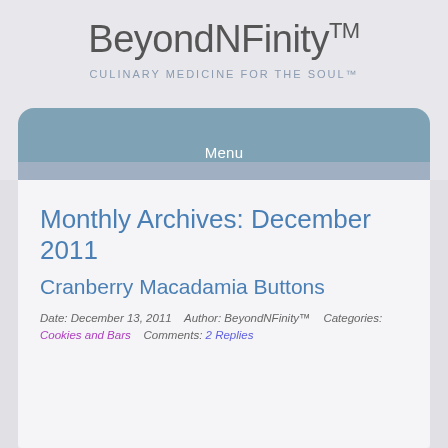BeyondNFinity™
CULINARY MEDICINE FOR THE SOUL™
Menu
Monthly Archives: December 2011
Cranberry Macadamia Buttons
Date: December 13, 2011   Author: BeyondNFinity™   Categories: Cookies and Bars   Comments: 2 Replies